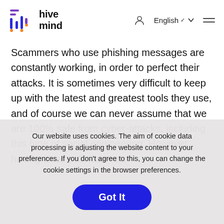hive mind — English — navigation menu
Scammers who use phishing messages are constantly working, in order to perfect their attacks. It is sometimes very difficult to keep up with the latest and greatest tools they use, and of course we can never assume that we are 100% safe from cyber-attacks, including this type of social engineering. However, having clear policies in our
Our website uses cookies. The aim of cookie data processing is adjusting the website content to your preferences. If you don't agree to this, you can change the cookie settings in the browser preferences.
Got It